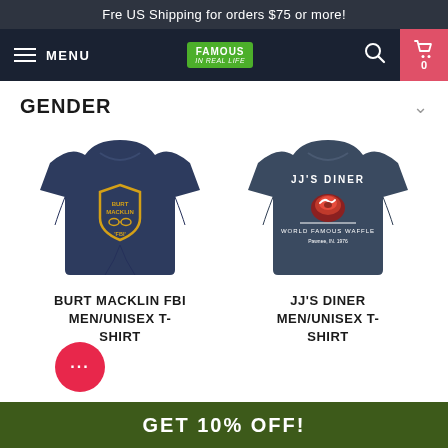Fre US Shipping for orders $75 or more!
[Figure (screenshot): Navigation bar with hamburger menu, MENU text, Famous In Real Life logo, search icon, and cart with 0 items]
GENDER
[Figure (photo): Navy blue t-shirt with Burt Macklin FBI badge logo in gold/yellow]
[Figure (photo): Navy blue t-shirt with JJ's Diner logo in white and red]
BURT MACKLIN FBI MEN/UNISEX T-SHIRT
JJ'S DINER MEN/UNISEX T-SHIRT
GET 10% OFF!